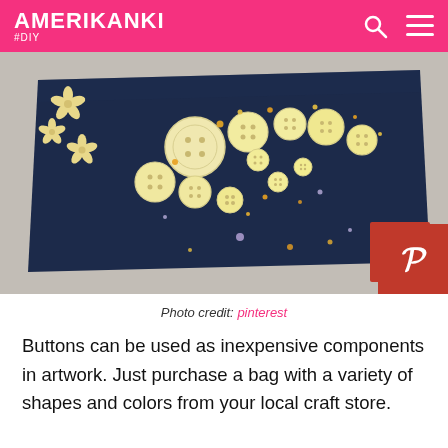AMERIKANKI #DIY
[Figure (photo): DIY craft artwork showing a Nike swoosh shape made from yellow/cream buttons and rhinestones on dark denim canvas, with scattered flower-shaped pieces around it on a gray background. A red Pinterest button overlay is visible in the bottom-right corner.]
Photo credit: pinterest
Buttons can be used as inexpensive components in artwork. Just purchase a bag with a variety of shapes and colors from your local craft store.